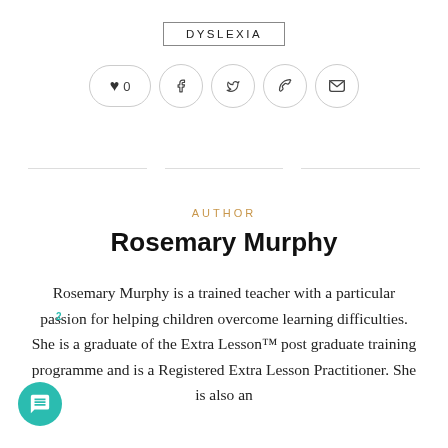DYSLEXIA
[Figure (other): Social sharing icons row: heart with count 0, Facebook, Twitter, Pinterest, Email]
AUTHOR
Rosemary Murphy
Rosemary Murphy is a trained teacher with a particular passion for helping children overcome learning difficulties. She is a graduate of the Extra Lesson™ post graduate training programme and is a Registered Extra Lesson Practitioner. She is also an